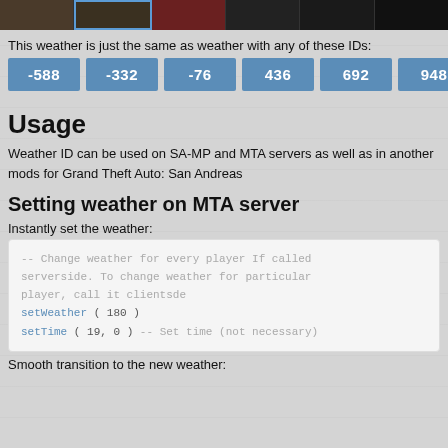[Figure (screenshot): Row of six game screenshot thumbnails, second one selected with blue border, third with red tint]
This weather is just the same as weather with any of these IDs:
-588  -332  -76  436  692  948
Usage
Weather ID can be used on SA-MP and MTA servers as well as in another mods for Grand Theft Auto: San Andreas
Setting weather on MTA server
Instantly set the weather:
-- Change weather for every player If called serverside. To change weather for particular player, call it clientsde
setWeather ( 180 )
setTime ( 19, 0 ) -- Set time (not necessary)
Smooth transition to the new weather: